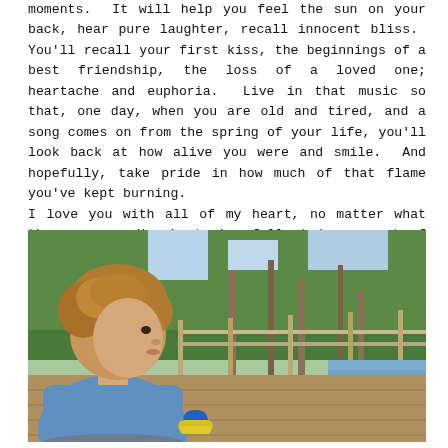moments.  It will help you feel the sun on your back, hear pure laughter, recall innocent bliss.  You'll recall your first kiss, the beginnings of a best friendship, the loss of a loved one; heartache and euphoria.  Live in that music so that, one day, when you are old and tired, and a song comes on from the spring of your life, you'll look back at how alive you were and smile.  And hopefully, take pride in how much of that flame you've kept burning.
I love you with all of my heart, no matter what the season.  Here's to hopefully being a part of your soundtrack.
[Figure (photo): A young curly-haired child in a blue shirt sitting at a wooden deck table by a lake or river, with trees in the background.]